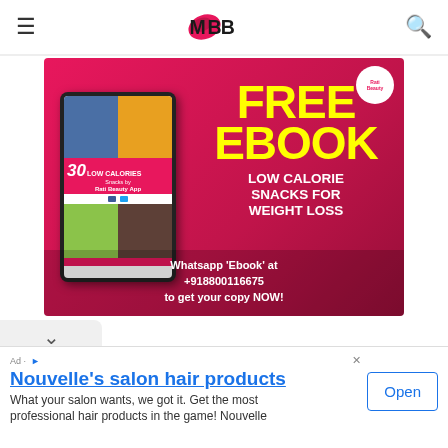IMBB
[Figure (illustration): Promotional banner for a free ebook on low calorie snacks for weight loss by Rati Beauty App. Pink/red gradient background. Left side shows a tablet with book cover '30 Low Calories Snacks by Rati Beauty App'. Right side shows text: FREE EBOOK (in yellow), LOW CALORIE SNACKS FOR WEIGHT LOSS (in white bold). Bottom: Whatsapp 'Ebook' at +918800116675 to get your copy NOW!]
Whatsapp 'Ebook' at +918800116675 to get your copy NOW!
Nouvelle's salon hair products
What your salon wants, we got it. Get the most professional hair products in the game! Nouvelle
Open